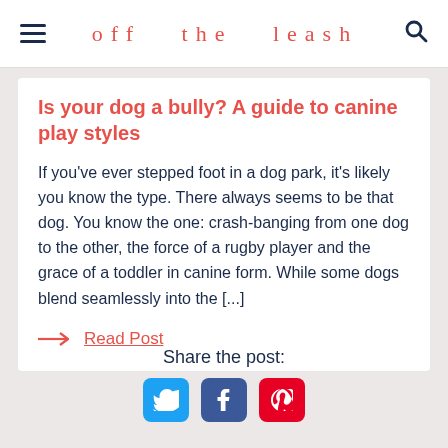off   the   leash
Is your dog a bully? A guide to canine play styles
If you've ever stepped foot in a dog park, it's likely you know the type. There always seems to be that dog. You know the one: crash-banging from one dog to the other, the force of a rugby player and the grace of a toddler in canine form. While some dogs blend seamlessly into the [...]
→ Read Post
Share the post: